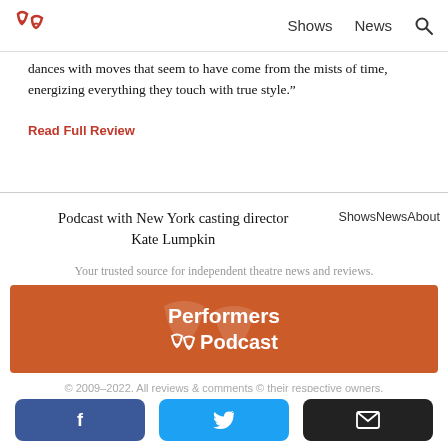Shows  News  [search]
dances with moves that seem to have come from the mists of time, energizing everything they touch with true style."
Read Full Review
Podcast with New York casting director Kate Lumpkin   ShowsNewsAbout
Your trusted source for independent theatre news and reviews.
[Figure (logo): Performers Podcast logo — orange banner with white text and theatre mask icons]
© 2009–2022. All reviews & comments © their respective owners.
Facebook share button, Twitter share button, Email share button